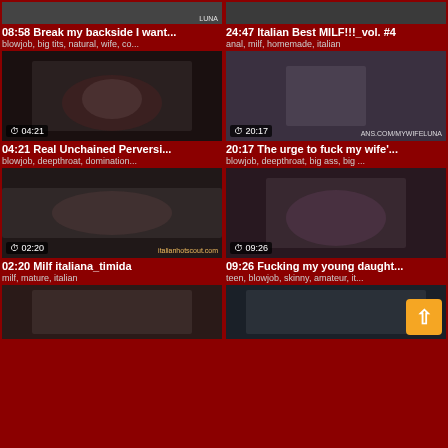[Figure (screenshot): Video thumbnail grid - top partial row showing two video thumbnails with watermark LUNA]
08:58 Break my backside I want...
blowjob, big tits, natural, wife, co...
24:47 Italian Best MILF!!!_vol. #4
anal, milf, homemade, italian
[Figure (screenshot): Video thumbnail 04:21 Real Unchained Perversi...]
04:21 Real Unchained Perversi...
blowjob, deepthroat, domination...
[Figure (screenshot): Video thumbnail 20:17 The urge to fuck my wife'...]
20:17 The urge to fuck my wife'...
blowjob, deepthroat, big ass, big...
[Figure (screenshot): Video thumbnail 02:20 Milf italiana_timida]
02:20 Milf italiana_timida
milf, mature, italian
[Figure (screenshot): Video thumbnail 09:26 Fucking my young daught...]
09:26 Fucking my young daught...
teen, blowjob, skinny, amateur, it...
[Figure (screenshot): Bottom partial row two more video thumbnails]